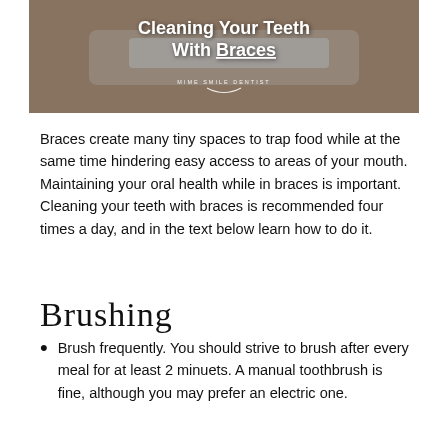[Figure (photo): Close-up photo of a person smiling showing teeth and braces, with a green interdental brush being used. Title overlay reads 'Cleaning Your Teeth With Braces' with 'Mime Smile Dentist' logo at bottom.]
Braces create many tiny spaces to trap food while at the same time hindering easy access to areas of your mouth. Maintaining your oral health while in braces is important. Cleaning your teeth with braces is recommended four times a day, and in the text below learn how to do it.
Brushing
Brush frequently. You should strive to brush after every meal for at least 2 minuets. A manual toothbrush is fine, although you may prefer an electric one.